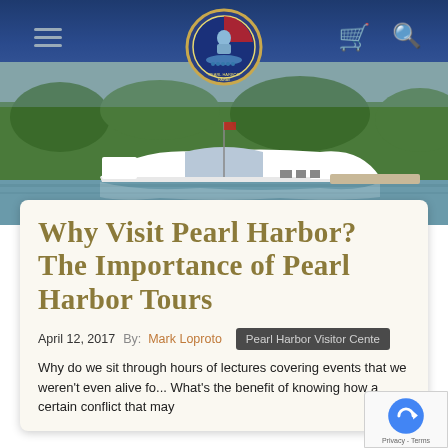[Figure (screenshot): Website navigation bar with hamburger menu on left, Pearl Harbor logo/seal in center, cart and search icons on right, dark blue gradient background with gold border]
[Figure (photo): Hero banner photograph showing the USS Arizona Memorial white structure on water with green trees in background]
Why Visit Pearl Harbor? The Importance of Pearl Harbor Tours
April 12, 2017  By: Mark Loproto
Pearl Harbor Visitor Cente
Why do we sit through hours of lectures covering events that we weren't even alive fo... What's the benefit of knowing how a certain conflict that may